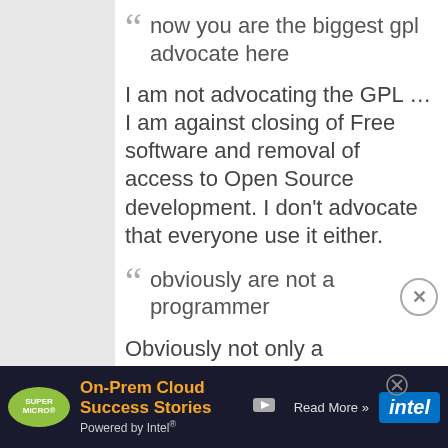now you are the biggest gpl advocate here
I am not advocating the GPL … I am against closing of Free software and removal of access to Open Source development. I don't advocate that everyone use it either.
obviously are not a programmer
Obviously not only a programmer … I am a User , teacher , student , developer , visonary , er ...
[Figure (infographic): Advertisement banner for Supermicro On-Prem Cloud Success Stories powered by Intel with Read More button]